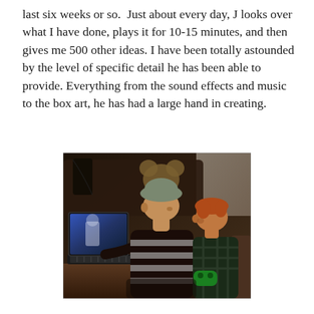last six weeks or so.  Just about every day, J looks over what I have done, plays it for 10-15 minutes, and then gives me 500 other ideas. I have been totally astounded by the level of specific detail he has been able to provide. Everything from the sound effects and music to the box art, he has had a large hand in creating.
[Figure (photo): A man wearing a cap and brown striped shirt sits with a young red-haired child on a couch. The man works on a laptop while the child holds a green game controller, looking at the screen.]